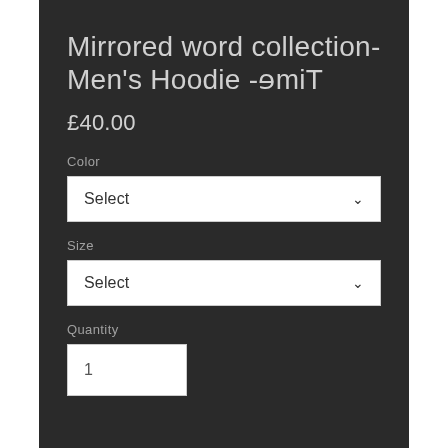Mirrored word collection- Men's Hoodie -ɘmiT
£40.00
Color
Select
Size
Select
Quantity
1